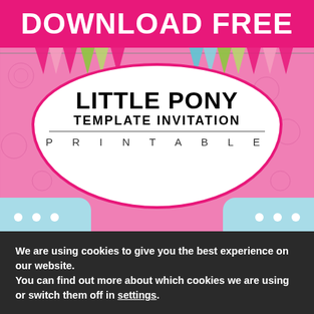DOWNLOAD FREE
[Figure (illustration): Little Pony template invitation card with pink damask background, colorful bunting flags across the top, a large white oval/rounded shape in the center containing the text 'LITTLE PONY', 'TEMPLATE INVITATION', and 'PRINTABLE', light blue corner patches at the bottom with white polka dots, and a hot pink border around the oval.]
We are using cookies to give you the best experience on our website.
You can find out more about which cookies we are using or switch them off in settings.
Accept